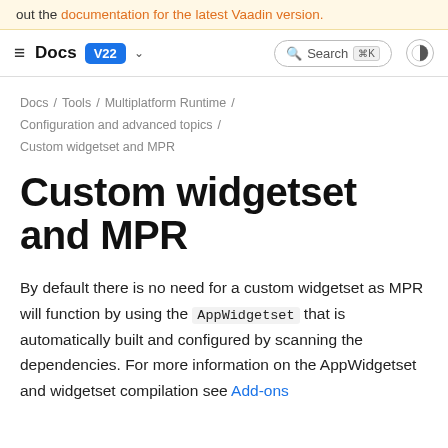out the documentation for the latest Vaadin version.
Docs V22 ▾  🔍 Search ⌘K 🌓
Docs / Tools / Multiplatform Runtime / Configuration and advanced topics / Custom widgetset and MPR
Custom widgetset and MPR
By default there is no need for a custom widgetset as MPR will function by using the AppWidgetset that is automatically built and configured by scanning the dependencies. For more information on the AppWidgetset and widgetset compilation see Add-ons